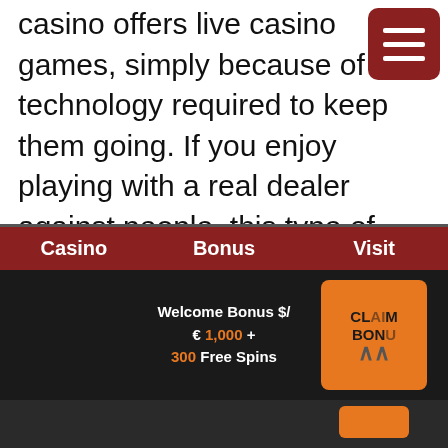casino offers live casino games, simply because of the technology required to keep them going. If you enjoy playing with a real dealer against people, this type of game can be incredibly fun and very realistic. Of course, you do not get the sounds and smells of the live casino experience, but this way of playing is as close as you are going to get.
[Figure (screenshot): Dark red hamburger menu button icon in top right corner]
| Casino | Bonus | Visit |
| --- | --- | --- |
|  | Welcome Bonus $/€ 1,000 + 300 Free Spins | CLAIM BONUS |